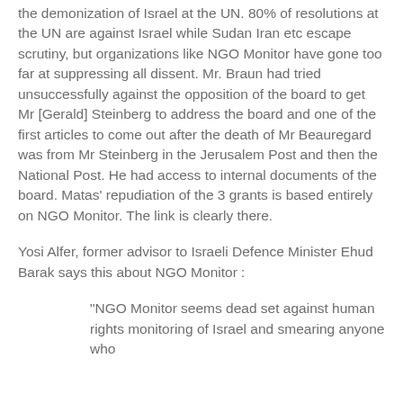the demonization of Israel at the UN. 80% of resolutions at the UN are against Israel while Sudan Iran etc escape scrutiny, but organizations like NGO Monitor have gone too far at suppressing all dissent. Mr. Braun had tried unsuccessfully against the opposition of the board to get Mr [Gerald] Steinberg to address the board and one of the first articles to come out after the death of Mr Beauregard was from Mr Steinberg in the Jerusalem Post and then the National Post. He had access to internal documents of the board. Matas' repudiation of the 3 grants is based entirely on NGO Monitor. The link is clearly there.
Yosi Alfer, former advisor to Israeli Defence Minister Ehud Barak says this about NGO Monitor :
"NGO Monitor seems dead set against human rights monitoring of Israel and smearing anyone who